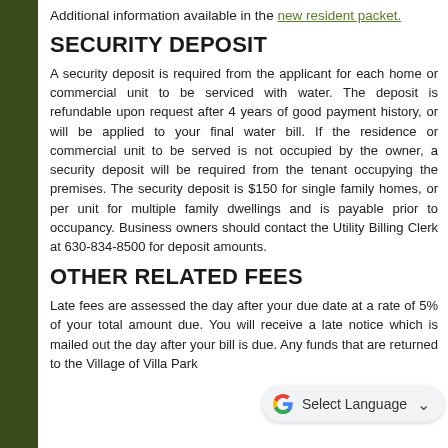Additional information available in the new resident packet.
SECURITY DEPOSIT
A security deposit is required from the applicant for each home or commercial unit to be serviced with water. The deposit is refundable upon request after 4 years of good payment history, or will be applied to your final water bill. If the residence or commercial unit to be served is not occupied by the owner, a security deposit will be required from the tenant occupying the premises. The security deposit is $150 for single family homes, or per unit for multiple family dwellings and is payable prior to occupancy. Business owners should contact the Utility Billing Clerk at 630-834-8500 for deposit amounts.
OTHER RELATED FEES
Late fees are assessed the day after your due date at a rate of 5% of your total amount due. You will receive a late notice which is mailed out the day after [due]. Any funds that are returned to the Village of Villa Park